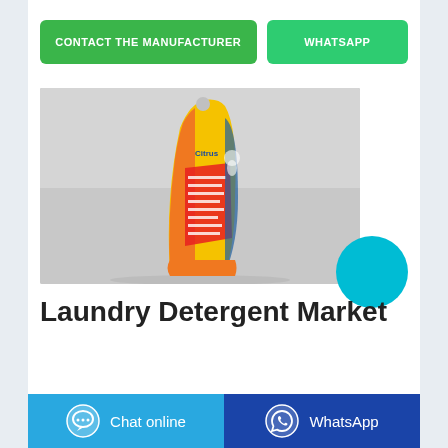CONTACT THE MANUFACTURER
WHATSAPP
[Figure (photo): A yellow and orange laundry detergent bag/pouch shown from the side angle against a grey background, showing product label with red text details.]
Laundry Detergent Market
Chat online
WhatsApp